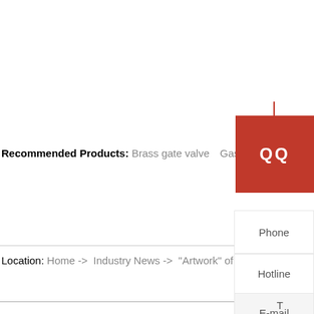Recommended Products: Brass gate valve【Gas ball valve【Check valve【
Location: Home -> Industry News -> "Artwork" of Faucet-Bathroom W
QQ
Phone
Hotline
E-mail
T